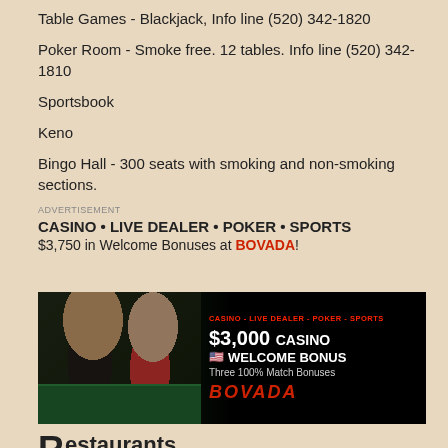Table Games - Blackjack, Info line (520) 342-1820
Poker Room - Smoke free. 12 tables. Info line (520) 342-1810
Sportsbook
Keno
Bingo Hall - 300 seats with smoking and non-smoking sections.
ADVERTISEMENT
CASINO • LIVE DEALER • POKER • SPORTS
$3,750 in Welcome Bonuses at BOVADA!
[Figure (illustration): Bovada casino advertisement banner showing casino players at a table with text: CASINO - LIVE DEALER - POKER - SPORTS, $3,000 CASINO WELCOME BONUS, Three 100% Match Bonuses, BOVADA]
Restaurants